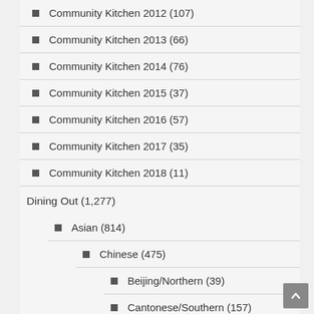Community Kitchen 2012 (107)
Community Kitchen 2013 (66)
Community Kitchen 2014 (76)
Community Kitchen 2015 (37)
Community Kitchen 2016 (57)
Community Kitchen 2017 (35)
Community Kitchen 2018 (11)
Dining Out (1,277)
Asian (814)
Chinese (475)
Beijing/Northern (39)
Cantonese/Southern (157)